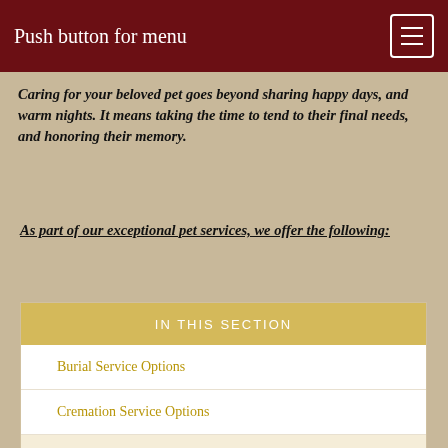Push button for menu
Caring for your beloved pet goes beyond sharing happy days, and warm nights. It means taking the time to tend to their final needs, and honoring their memory.
As part of our exceptional pet services, we offer the following:
IN THIS SECTION
Burial Service Options
Cremation Service Options
Pet Services
Monuments
Keepsakes and More